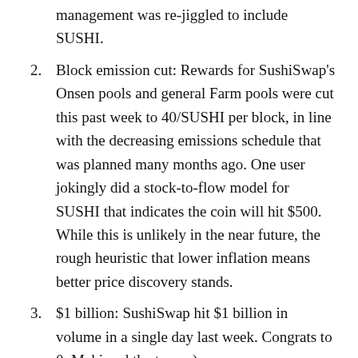2. Block emission cut: Rewards for SushiSwap’s Onsen pools and general Farm pools were cut this past week to 40/SUSHI per block, in line with the decreasing emissions schedule that was planned many months ago. One user jokingly did a stock-to-flow model for SUSHI that indicates the coin will hit $500. While this is unlikely in the near future, the rough heuristic that lower inflation means better price discovery stands.
3. $1 billion: SushiSwap hit $1 billion in volume in a single day last week. Congrats to 0xMaki and the team :)
What I’m keeping an eye on
There are two projects I’m keeping a close eye on this